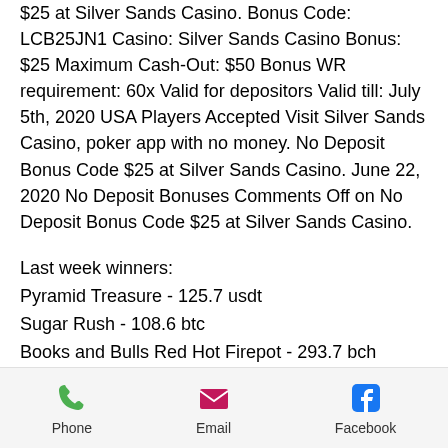$25 at Silver Sands Casino. Bonus Code: LCB25JN1 Casino: Silver Sands Casino Bonus: $25 Maximum Cash-Out: $50 Bonus WR requirement: 60x Valid for depositors Valid till: July 5th, 2020 USA Players Accepted Visit Silver Sands Casino, poker app with no money. No Deposit Bonus Code $25 at Silver Sands Casino. June 22, 2020 No Deposit Bonuses Comments Off on No Deposit Bonus Code $25 at Silver Sands Casino.
Last week winners:
Pyramid Treasure - 125.7 usdt
Sugar Rush - 108.6 btc
Books and Bulls Red Hot Firepot - 293.7 bch
Blazing Star - 547.8 btc
Terminator 2 - 68.7 bch
Barbary Coast - 525.8 eth
Phone | Email | Facebook